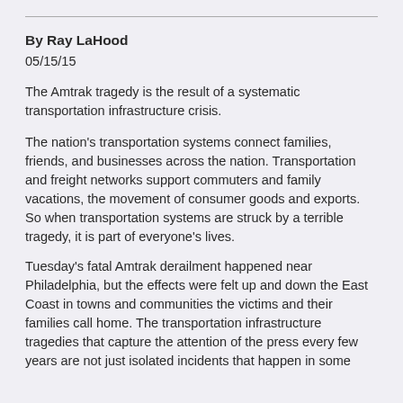By Ray LaHood
05/15/15
The Amtrak tragedy is the result of a systematic transportation infrastructure crisis.
The nation's transportation systems connect families, friends, and businesses across the nation. Transportation and freight networks support commuters and family vacations, the movement of consumer goods and exports. So when transportation systems are struck by a terrible tragedy, it is part of everyone's lives.
Tuesday's fatal Amtrak derailment happened near Philadelphia, but the effects were felt up and down the East Coast in towns and communities the victims and their families call home. The transportation infrastructure tragedies that capture the attention of the press every few years are not just isolated incidents that happen in some other community or some place, but in The transportation...